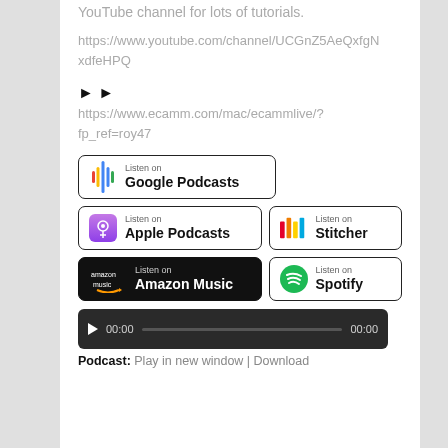YouTube channel for lots of tutorials.
https://www.youtube.com/channel/UCGnZ5AeQxfgNxdfeHPQ
▶ ▶
https://www.ecamm.com/mac/ecammlive/?fp_ref=roy47
[Figure (other): Podcast platform badges: Google Podcasts, Apple Podcasts, Stitcher, Amazon Music, Spotify]
[Figure (other): Audio player bar showing 00:00 / 00:00]
Podcast: Play in new window | Download